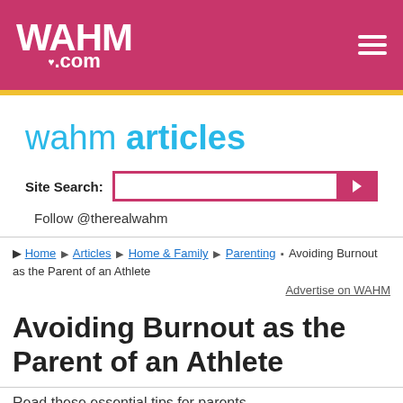WAHM.com
wahm articles
Site Search:
Follow @therealwahm
Home ▶ Articles ▶ Home & Family ▶ Parenting ▪ Avoiding Burnout as the Parent of an Athlete
Advertise on WAHM
Avoiding Burnout as the Parent of an Athlete
Read these essential tips for parents